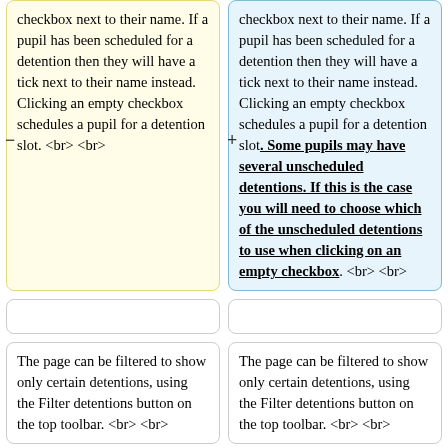checkbox next to their name. If a pupil has been scheduled for a detention then they will have a tick next to their name instead. Clicking an empty checkbox schedules a pupil for a detention slot. <br> <br>
checkbox next to their name. If a pupil has been scheduled for a detention then they will have a tick next to their name instead. Clicking an empty checkbox schedules a pupil for a detention slot. Some pupils may have several unscheduled detentions. If this is the case you will need to choose which of the unscheduled detentions to use when clicking on an empty checkbox. <br> <br>
The page can be filtered to show only certain detentions, using the Filter detentions button on the top toolbar. <br> <br>
The page can be filtered to show only certain detentions, using the Filter detentions button on the top toolbar. <br> <br>